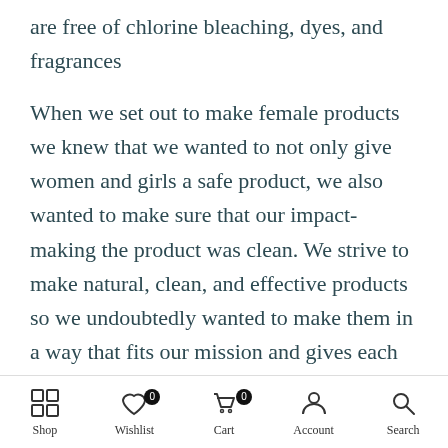are free of chlorine bleaching, dyes, and fragrances
When we set out to make female products we knew that we wanted to not only give women and girls a safe product, we also wanted to make sure that our impact-making the product was clean. We strive to make natural, clean, and effective products so we undoubtedly wanted to make them in a way that fits our mission and gives each woman and girl a sense of relief knowing exactly what they were using every month.
Shop  Wishlist  Cart  Account  Search